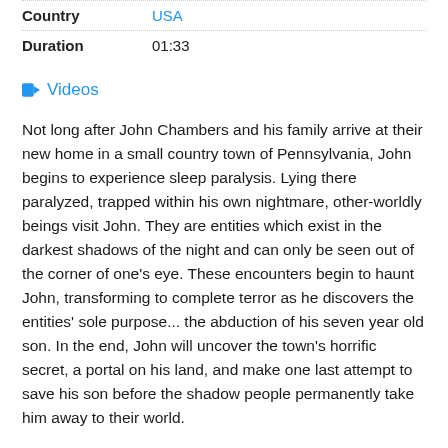| Field | Value |
| --- | --- |
| Country | USA |
| Duration | 01:33 |
Videos
Not long after John Chambers and his family arrive at their new home in a small country town of Pennsylvania, John begins to experience sleep paralysis. Lying there paralyzed, trapped within his own nightmare, other-worldly beings visit John. They are entities which exist in the darkest shadows of the night and can only be seen out of the corner of one's eye. These encounters begin to haunt John, transforming to complete terror as he discovers the entities' sole purpose... the abduction of his seven year old son. In the end, John will uncover the town's horrific secret, a portal on his land, and make one last attempt to save his son before the shadow people permanently take him away to their world.